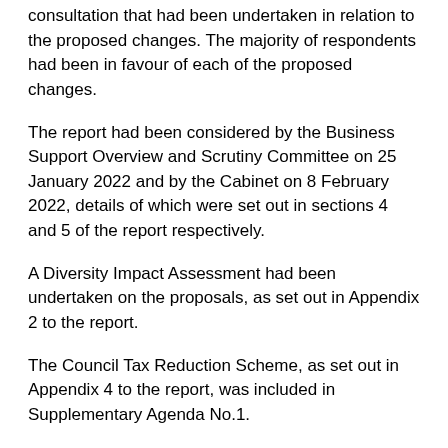consultation that had been undertaken in relation to the proposed changes. The majority of respondents had been in favour of each of the proposed changes.
The report had been considered by the Business Support Overview and Scrutiny Committee on 25 January 2022 and by the Cabinet on 8 February 2022, details of which were set out in sections 4 and 5 of the report respectively.
A Diversity Impact Assessment had been undertaken on the proposals, as set out in Appendix 2 to the report.
The Council Tax Reduction Scheme, as set out in Appendix 4 to the report, was included in Supplementary Agenda No.1.
The Portfolio Holder for Business Management, Councillor Hackwell, supported by the Portfolio Holder for Resources, Councillor Gulvin, proposed the recommendations set out